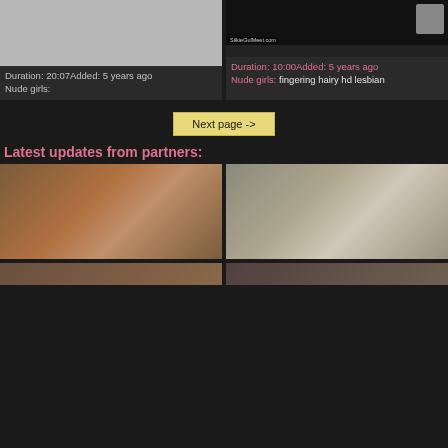[Figure (screenshot): Gray placeholder thumbnail for video 1]
Duration: 20:07Added: 5 years ago
Nude girls:
[Figure (screenshot): Webcam video thumbnail with watermark SilkieGulMeet.com]
Duration: 10:00Added: 5 years ago
Nude girls: fingering hairy hd lesbian
Next page ->
Latest updates from partners:
[Figure (screenshot): Partner video thumbnail 1 - couple in wooden interior]
[Figure (screenshot): Partner video thumbnail 2 - two women on couch]
[Figure (screenshot): Partner video thumbnail 3 - bottom left partial]
[Figure (screenshot): Partner video thumbnail 4 - bottom right partial]